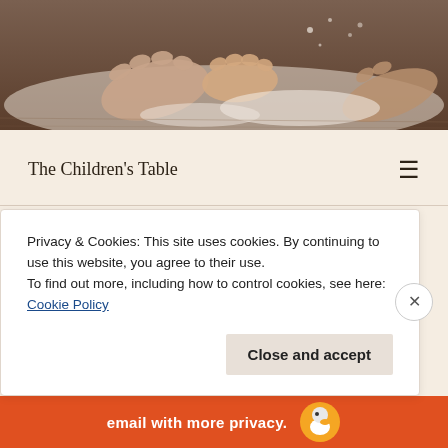[Figure (photo): Close-up photo of children's hands touching flour or similar white powder on a wooden surface, warmly lit]
The Children's Table
Category: Middle East
Privacy & Cookies: This site uses cookies. By continuing to use this website, you agree to their use.
To find out more, including how to control cookies, see here: Cookie Policy
Close and accept
email with more privacy.